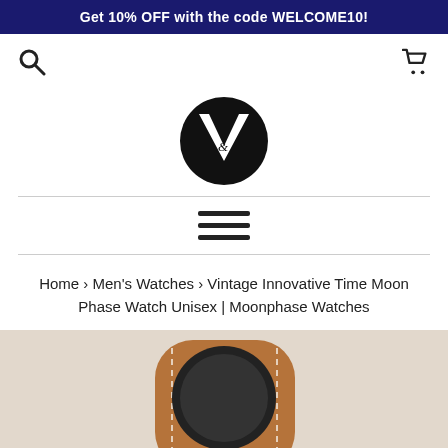Get 10% OFF with the code WELCOME10!
[Figure (logo): Search icon (magnifying glass) on the left, shopping cart icon on the right]
[Figure (logo): Round black circle logo with a white V and '&' symbol inside]
[Figure (other): Hamburger menu icon with three horizontal lines]
Home › Men's Watches › Vintage Innovative Time Moon Phase Watch Unisex | Moonphase Watches
[Figure (photo): Close-up photo of a brown leather watch strap with white stitching and a dark watch face, on a light beige background]